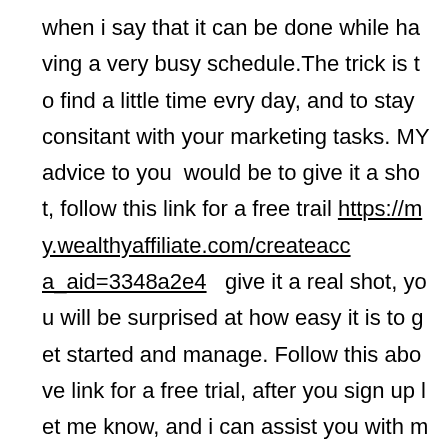when i say that it can be done while having a very busy schedule.The trick is to find a little time evry day, and to stay consitant with your marketing tasks. MY advice to you  would be to give it a shot, follow this link for a free trail https://my.wealthyaffiliate.com/createaccount?a_aid=3348a2e4   give it a real shot, you will be surprised at how easy it is to get started and manage. Follow this above link for a free trial, after you sign up let me know, and i can assist you with more tips and tricks on finding more time for your business. good luck